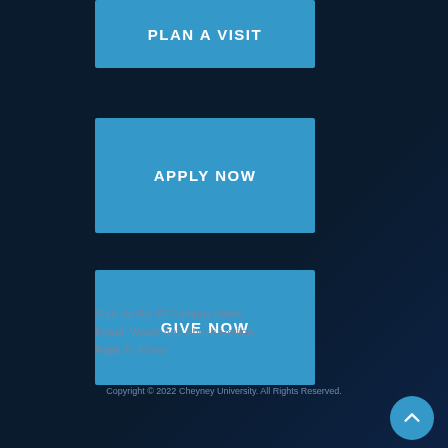PLAN A VISIT
APPLY NOW
GIVE NOW
Sign Up For E2Campus Alerts
Fraud, Waste And Abuse Hotline
Right To Know
Copyright © 2022 Cheyney University. All Rights Reserved.